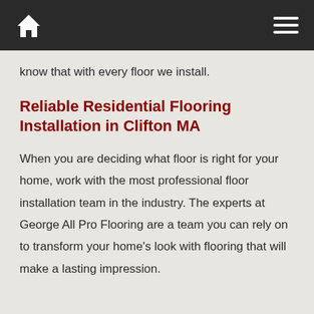Navigation bar with home icon and hamburger menu
know that with every floor we install.
Reliable Residential Flooring Installation in Clifton MA
When you are deciding what floor is right for your home, work with the most professional floor installation team in the industry. The experts at George All Pro Flooring are a team you can rely on to transform your home's look with flooring that will make a lasting impression.